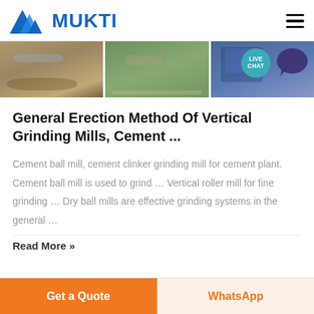[Figure (logo): MUKTI company logo with blue triangle/mountain icon and blue bold text MUKTI]
[Figure (photo): Horizontal strip of three construction/mining site photos: muddy ground with water, open field with road/bridge, blue industrial machinery]
General Erection Method Of Vertical Grinding Mills, Cement ...
Cement ball mill, cement clinker grinding mill for cement plant. Cement ball mill is used to grind ... Vertical roller mill for fine grinding ... Dry ball mills are effective grinding systems in the general ...
Read More »